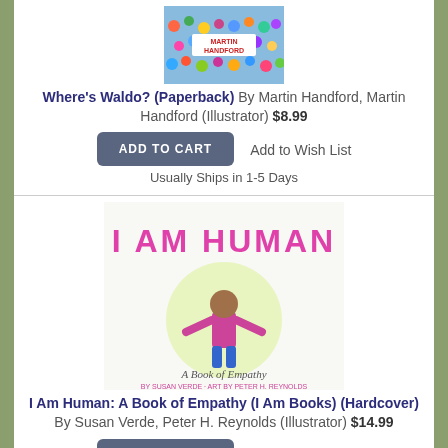[Figure (photo): Book cover of Where's Waldo? by Martin Handford]
Where's Waldo? (Paperback) By Martin Handford, Martin Handford (Illustrator) $8.99
Add to Wish List
ADD TO CART
Usually Ships in 1-5 Days
[Figure (photo): Book cover of I Am Human: A Book of Empathy by Susan Verde, illustrated by Peter H. Reynolds]
I Am Human: A Book of Empathy (I Am Books) (Hardcover) By Susan Verde, Peter H. Reynolds (Illustrator) $14.99
Add to Wish List
ADD TO CART
Usually Ships in 1-5 Days